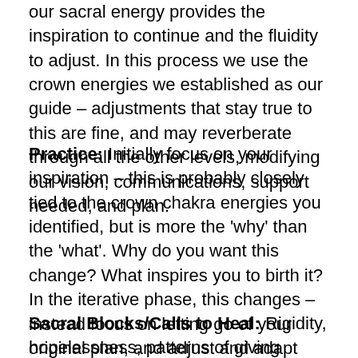our sacral energy provides the inspiration to continue and the fluidity to adjust. In this process we use the crown energies we established as our guide – adjustments that stay true to this are fine, and may reverberate through all the other levels, modifying our vision, communications, support needed, and plan.
Practice: Initially focus on your inspiration – this is probably closely tied to the crown chakra energies you identified, but is more the 'why' than the 'what'. Why do you want this change? What inspires you to birth it? In the iterative phase, this changes – instead focus on letting go of your original plan, and adjust and adapt based on what you have learned from your setbacks or obstacles.
Sacral Blocks/Calls to Heal: Rigidity, hopelessness, patterns of giving up/discouragement, joylessness, stagnation, lack or sense of shame, helplessness.